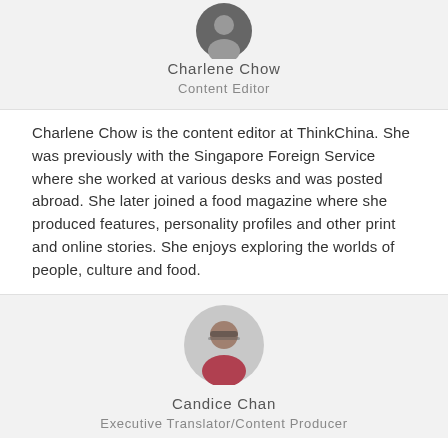[Figure (photo): Circular avatar photo of Charlene Chow (partially visible at top)]
Charlene Chow
Content Editor
Charlene Chow is the content editor at ThinkChina. She was previously with the Singapore Foreign Service where she worked at various desks and was posted abroad. She later joined a food magazine where she produced features, personality profiles and other print and online stories. She enjoys exploring the worlds of people, culture and food.
[Figure (photo): Circular avatar photo of Candice Chan, woman with glasses wearing a red top]
Candice Chan
Executive Translator/Content Producer